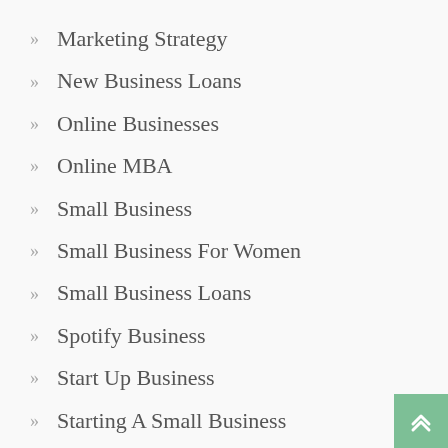Marketing Strategy
New Business Loans
Online Businesses
Online MBA
Small Business
Small Business For Women
Small Business Loans
Spotify Business
Start Up Business
Starting A Small Business